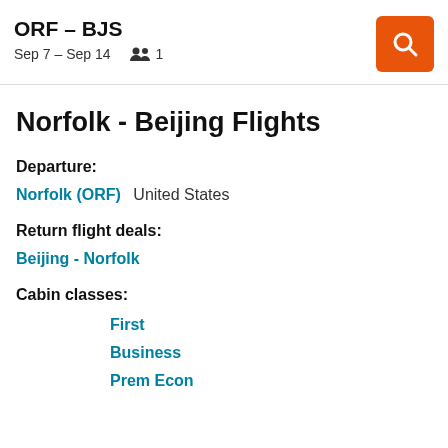ORF – BJS  Sep 7 – Sep 14  1
Norfolk - Beijing Flights
Departure:
Norfolk (ORF)   United States
Return flight deals:
Beijing - Norfolk
Cabin classes:
First
Business
Prem Econ